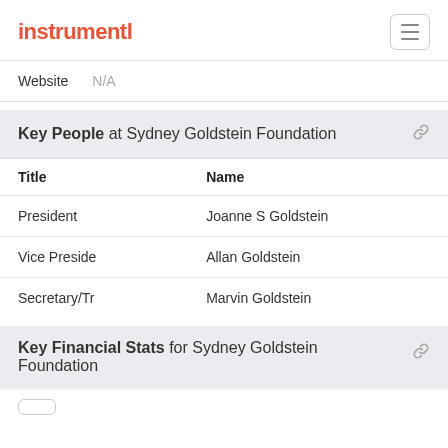instrumentl
| Website | N/A |
| --- | --- |
Key People at Sydney Goldstein Foundation
| Title | Name |
| --- | --- |
| President | Joanne S Goldstein |
| Vice Preside | Allan Goldstein |
| Secretary/Tr | Marvin Goldstein |
Key Financial Stats for Sydney Goldstein Foundation